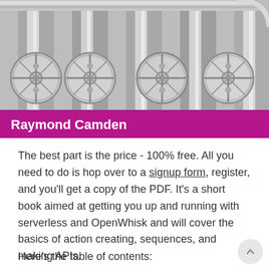[Figure (photo): Black and white photo of industrial brass/silver valves and pipes, with a purple banner at the bottom reading 'Raymond Camden']
The best part is the price - 100% free. All you need to do is hop over to a signup form, register, and you'll get a copy of the PDF. It's a short book aimed at getting you up and running with serverless and OpenWhisk and will cover the basics of action creating, sequences, and making APIs.
Here's the table of contents: